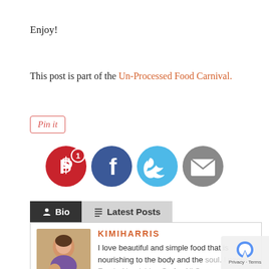Enjoy!
This post is part of the Un-Processed Food Carnival.
[Figure (other): Pin it button - red bordered italic button]
[Figure (other): Social sharing icons: Pinterest (with badge 1), Facebook, Twitter, Email]
Bio | Latest Posts tabs
[Figure (photo): Photo of Kimi Harris with child]
KIMIHARRIS
I love beautiful and simple food that is nourishing to the body and the soul. I wrote Fresh: Nourishing Salads for All Seasons and Ladled Nourishing Soups for All Seasons.